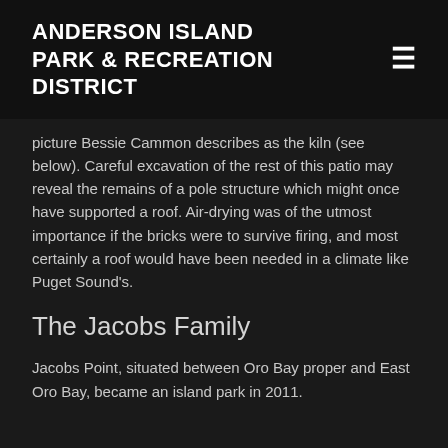ANDERSON ISLAND PARK & RECREATION DISTRICT
picture Bessie Cammon describes as the kiln (see below). Careful excavation of the rest of this patio may reveal the remains of a pole structure which might once have supported a roof. Air-drying was of the utmost importance if the bricks were to survive firing, and most certainly a roof would have been needed in a climate like Puget Sound's.
The Jacobs Family
Jacobs Point, situated between Oro Bay proper and East Oro Bay, became an island park in 2011.